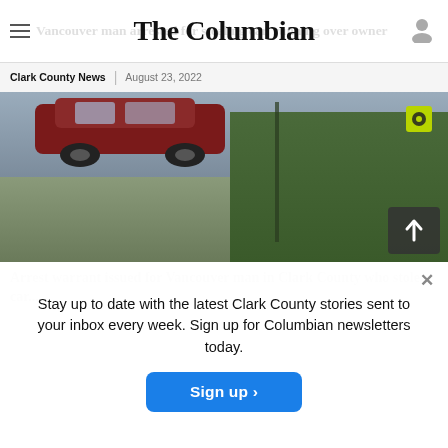The Columbian
Vancouver man arrested for stealing car, running over owner
Clark County News | August 23, 2022
[Figure (photo): Surveillance camera still image showing a dark red car parked on a driveway or road with grass and dense bushes/trees in the background. A green camera icon is visible in the upper right of the frame. A scroll-to-top arrow button appears in the lower right corner.]
Arrest warrant issued for Vancouver man in Clark County...
Stay up to date with the latest Clark County stories sent to your inbox every week. Sign up for Columbian newsletters today.
Sign up >